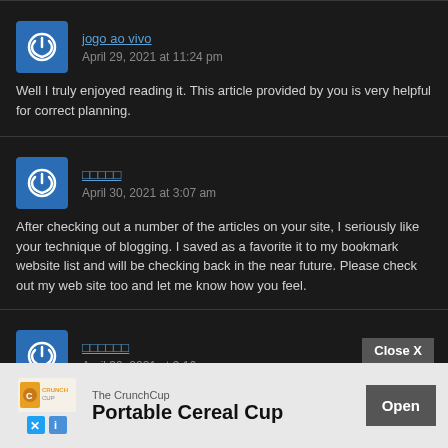jogo ao vivo
April 29, 2021 at 11:24 pm
Well I truly enjoyed reading it. This article provided by you is very helpful for correct planning.
□□□□□
April 30, 2021 at 3:07 am
After checking out a number of the articles on your site, I seriously like your technique of blogging. I saved as a favorite it to my bookmark website list and will be checking back in the near future. Please check out my web site too and let me know how you feel.
□□□□□□
April 30, 2021 at 9:16 am
An outstanding share! I have just forwarded this onto a friend who had been doing a little ho... because I stumbled... or the meal!! But yeah... n your web
[Figure (screenshot): Ad overlay for The CrunchCup Portable Cereal Cup with Close X button and Open button]